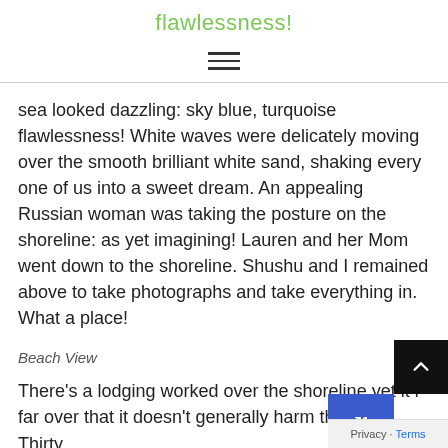flawlessness!
sea looked dazzling: sky blue, turquoise flawlessness! White waves were delicately moving over the smooth brilliant white sand, shaking every one of us into a sweet dream. An appealing Russian woman was taking the posture on the shoreline: as yet imagining! Lauren and her Mom went down to the shoreline. Shushu and I remained above to take photographs and take everything in. What a place!
Beach View
There's a lodging worked over the shoreline yet it is far over that it doesn't generally harm the view. Thirty